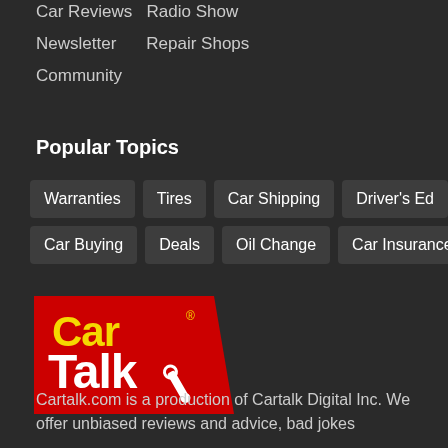Car Reviews  Radio Show
Newsletter    Repair Shops
Community
Popular Topics
Warranties
Tires
Car Shipping
Driver's Ed
Car Buying
Deals
Oil Change
Car Insurance
[Figure (logo): Car Talk logo — red angular banner shape with yellow 'Car' text and white 'Talk' text with a wrench icon]
Cartalk.com is a production of Cartalk Digital Inc. We offer unbiased reviews and advice, bad jokes